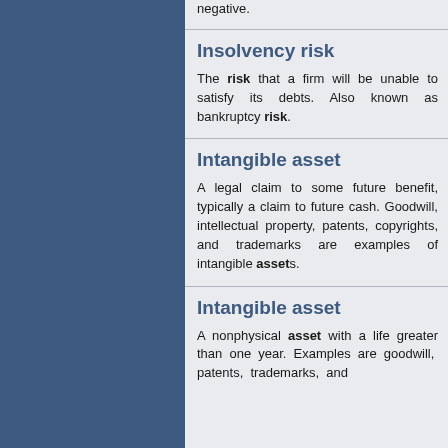negative.
Insolvency risk
The risk that a firm will be unable to satisfy its debts. Also known as bankruptcy risk.
Intangible asset
A legal claim to some future benefit, typically a claim to future cash. Goodwill, intellectual property, patents, copyrights, and trademarks are examples of intangible assets.
Intangible asset
A nonphysical asset with a life greater than one year. Examples are goodwill, patents, trademarks, and